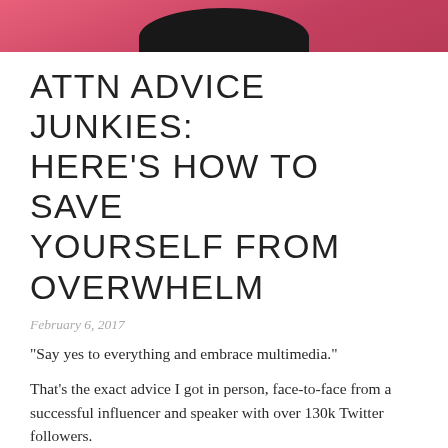[Figure (photo): Cropped photo showing top of a woman's dark hair against a pink background]
ATTN ADVICE JUNKIES: HERE'S HOW TO SAVE YOURSELF FROM OVERWHELM
February 6, 2017
“Say yes to everything and embrace multimedia.”
That's the exact advice I got in person, face-to-face from a successful influencer and speaker with over 130k Twitter followers.
Even though I look up to her, I didn't take her advice.